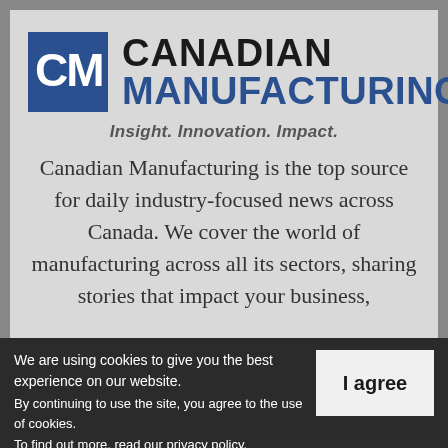[Figure (logo): Canadian Manufacturing logo with blue CM square icon and text 'CANADIAN MANUFACTURING' in bold, with tagline 'Insight. Innovation. Impact.']
Canadian Manufacturing is the top source for daily industry-focused news across Canada. We cover the world of manufacturing across all its sectors, sharing stories that impact your business,
We are using cookies to give you the best experience on our website. By continuing to use the site, you agree to the use of cookies. To find out more, read our privacy policy.